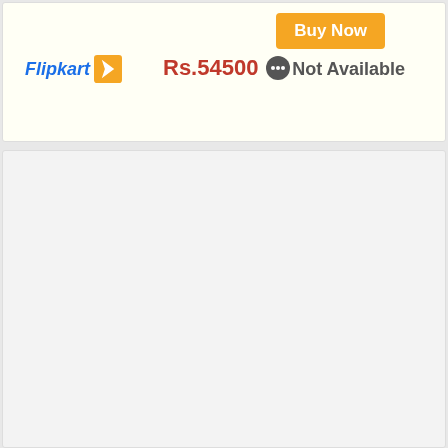[Figure (screenshot): Flipkart product listing card showing logo, price Rs.54500 with more options icon, a Buy Now orange button, and Not Available status]
Flipkart
Rs.54500
Buy Now
Not Available
[Figure (other): Light gray empty panel below the product card]